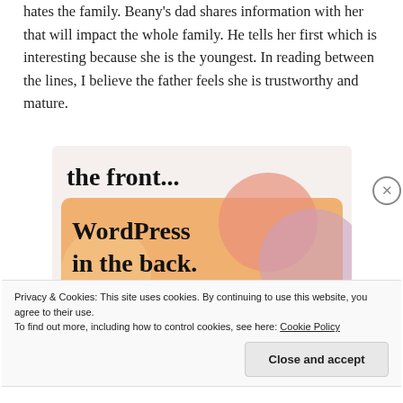hates the family. Beany's dad shares information with her that will impact the whole family. He tells her first which is interesting because she is the youngest. In reading between the lines, I believe the father feels she is trustworthy and mature.
[Figure (screenshot): Advertisement or webpage screenshot showing text 'the front...' on a light background, with an orange/pink gradient card below reading 'WordPress in the back.' with abstract circular shapes.]
Privacy & Cookies: This site uses cookies. By continuing to use this website, you agree to their use.
To find out more, including how to control cookies, see here: Cookie Policy
Close and accept